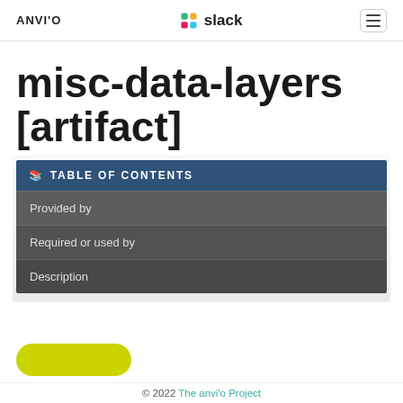ANVI'O   slack   ☰
misc-data-layers [artifact]
📋 TABLE OF CONTENTS
Provided by
Required or used by
Description
© 2022 The anvi'o Project